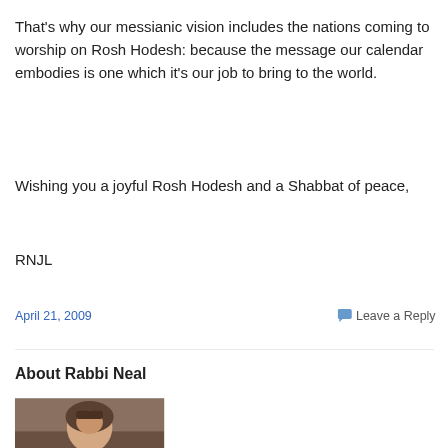That's why our messianic vision includes the nations coming to worship on Rosh Hodesh: because the message our calendar embodies is one which it's our job to bring to the world.
Wishing you a joyful Rosh Hodesh and a Shabbat of peace,
RNJL
April 21, 2009
Leave a Reply
About Rabbi Neal
[Figure (photo): Photo of Rabbi Neal, a person visible from shoulders up, with bookshelves in background]